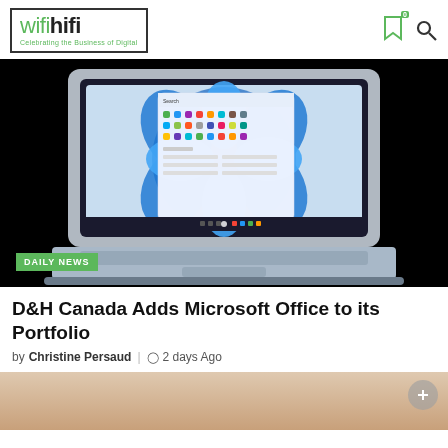wifihifi — Celebrating the Business of Digital
[Figure (photo): Microsoft Surface Laptop showing Windows 11 Start Menu interface on screen, photographed on black background with DAILY NEWS badge overlay]
DAILY NEWS
D&H Canada Adds Microsoft Office to its Portfolio
by Christine Persaud | 2 days Ago
[Figure (photo): Bottom portion of article page showing partial image, cropped at bottom of viewport]